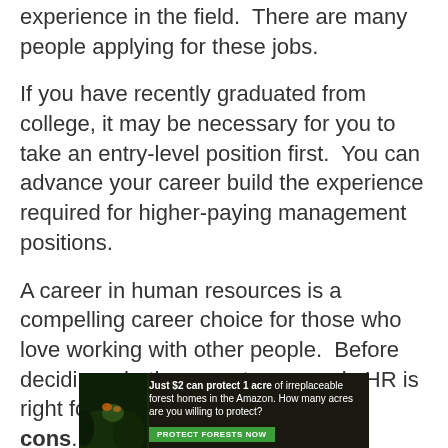experience in the field.  There are many people applying for these jobs.
If you have recently graduated from college, it may be necessary for you to take an entry-level position first.  You can advance your career build the experience required for higher-paying management positions.
A career in human resources is a compelling career choice for those who love working with other people.  Before deciding whether or not a career in HR is right for you, consider the pros and cons.
[Figure (infographic): Advertisement banner: 'Just $2 can protect 1 acre of irreplaceable forest homes in the Amazon. How many acres are you willing to protect?' with a green 'PROTECT FORESTS NOW' button and a forest/wildlife background image.]